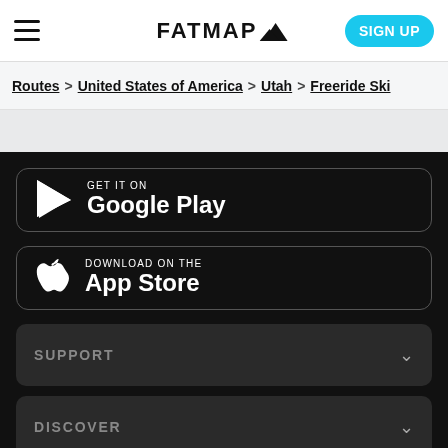FATMAP
Routes > United States of America > Utah > Freeride Ski
[Figure (screenshot): Google Play store download button on dark background]
[Figure (screenshot): App Store download button on dark background]
SUPPORT
DISCOVER